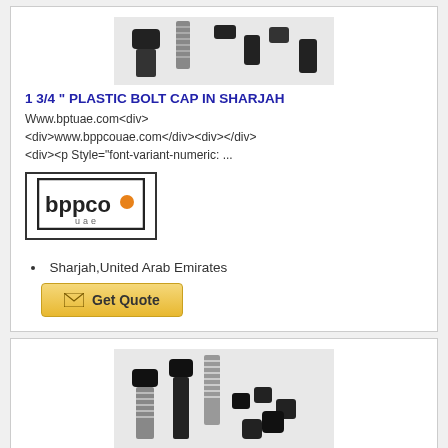[Figure (photo): Photo of plastic bolt caps — black cylindrical caps on bolts, top portion cut off]
1 3/4 " PLASTIC BOLT CAP IN SHARJAH
Www.bptuae.com<div> <div>www.bppcouae.com</div><div></div> <div><p Style="font-variant-numeric: ...
[Figure (logo): BPPCO UAE logo — black rectangle border with bppco text and orange dot, 'uae' below]
Sharjah,United Arab Emirates
[Figure (other): Get Quote button with envelope icon, gold/yellow background]
[Figure (photo): Photo of plastic bolt caps — various black cylindrical caps and bolts with threaded metal bolt]
1 7/8 " PLASTIC BOLT CAP IN SHARJAH